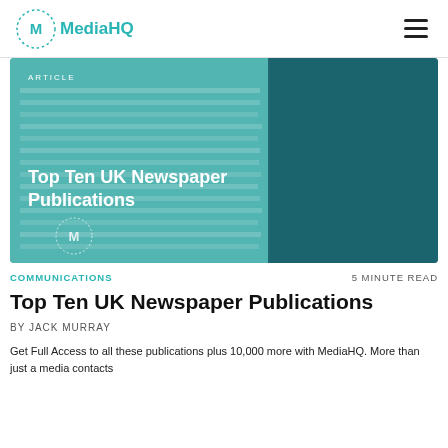MediaHQ
[Figure (photo): Stack of newspapers on a teal/green background with ARTICLE tag and MediaHQ logo watermark. Overlay text reads 'Top Ten UK Newspaper Publications'.]
COMMUNICATIONS    5 MINUTE READ
Top Ten UK Newspaper Publications
BY JACK MURRAY
Get Full Access to all these publications plus 10,000 more with MediaHQ. More than just a media contacts